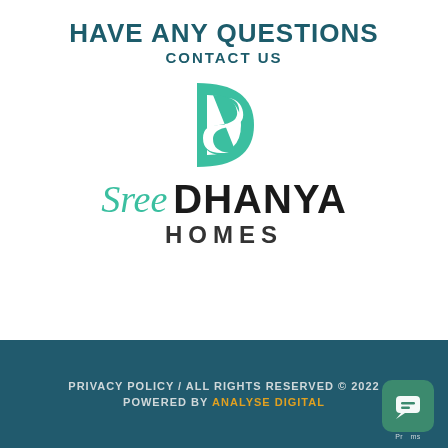HAVE ANY QUESTIONS
CONTACT US
[Figure (logo): Sree Dhanya Homes logo — teal D-shaped monogram above the text 'Sree DHANYA HOMES']
PRIVACY POLICY / ALL RIGHTS RESERVED © 2022
POWERED BY ANALYSE DIGITAL